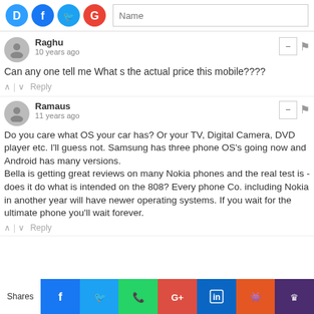[Figure (screenshot): Top bar with social login icons (Disqus, Facebook, Twitter, Google) and a Name input field]
Raghu
10 years ago
Can any one tell me What s the actual price this mobile????
^ | v Reply
Ramaus
11 years ago
Do you care what OS your car has? Or your TV, Digital Camera, DVD player etc. I'll guess not. Samsung has three phone OS's going now and Android has many versions.
Bella is getting great reviews on many Nokia phones and the real test is - does it do what is intended on the 808? Every phone Co. including Nokia in another year will have newer operating systems. If you wait for the ultimate phone you'll wait forever.
^ | v Reply
[Figure (screenshot): Share bar at the bottom with icons for Facebook, Twitter, WhatsApp, Google+, LinkedIn, Reddit, and another social platform. Labeled 'Shares' on the left.]